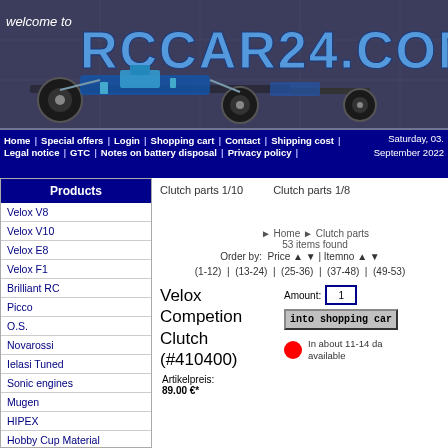[Figure (illustration): RCCAR24.COM website header banner with RC car image and logo]
Home | Special offers | Login | Shopping cart | Contact | Shipping cost | Legal notice | GTC | Notes on battery disposal | Privacy policy | Saturday, 03. September 2022
Products
Velox V8
Velox V10
Velox E8
Velox F1
Brilliant RC
Picco
O.S.
Novarossi
Ielasi Tuned
Sonic engines
Mugen
HIPEX
Hobby Cup Material
Futaba
Batteries
Hudy
Bodies
Tamiya Body paint
Clutch parts 1/10    Clutch parts 1/8
Home ▶ Clutch parts
53 items found
Order by:  Price ▲ ▼ | Itemno ▲ ▼
(1-12) | (13-24) | (25-36) | (37-48) | (49-53)
Velox Competion Clutch (#410400)
Amount: 1
into shopping car
Artikelpreis:
89.00 €*
In about 11-14 da
available